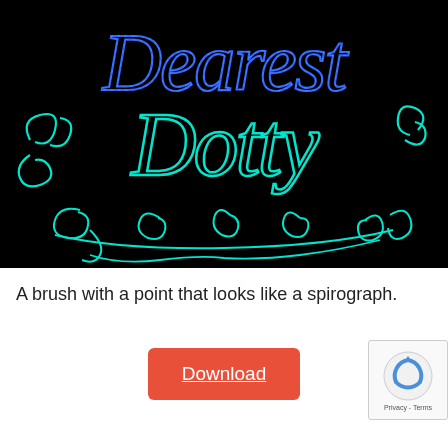[Figure (illustration): Black background with decorative hand-lettered calligraphy text reading 'Dearest Dotty' — 'Dearest' in blue with spirograph-style dotted outlines, 'Dotty' in cyan/turquoise with swirling flourishes and ornamental scroll decorations surrounding the text.]
A brush with a point that looks like a spirograph.